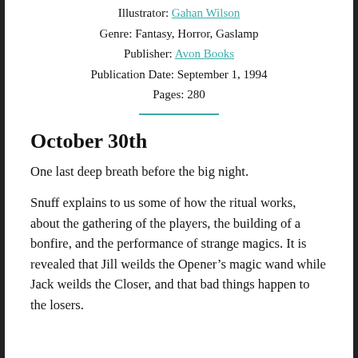Illustrator: Gahan Wilson
Genre: Fantasy, Horror, Gaslamp
Publisher: Avon Books
Publication Date: September 1, 1994
Pages: 280
October 30th
One last deep breath before the big night.
Snuff explains to us some of how the ritual works, about the gathering of the players, the building of a bonfire, and the performance of strange magics. It is revealed that Jill weilds the Opener’s magic wand while Jack weilds the Closer, and that bad things happen to the losers.